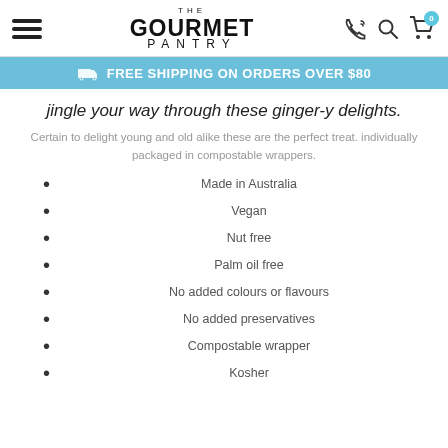THE GOURMET PANTRY
FREE SHIPPING ON ORDERS OVER $80
jingle your way through these ginger-y delights.
Certain to delight young and old alike these are the perfect treat. individually packaged in compostable wrappers.
Made in Australia
Vegan
Nut free
Palm oil free
No added colours or flavours
No added preservatives
Compostable wrapper
Kosher